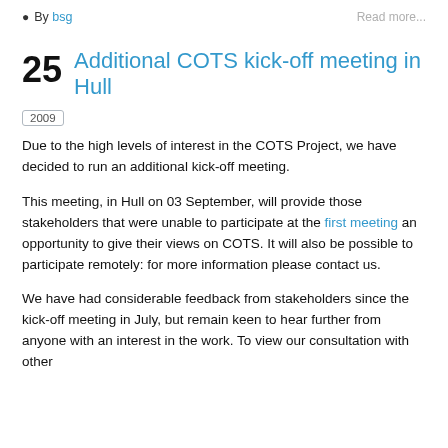By bsg   Read more...
Additional COTS kick-off meeting in Hull
2009
Due to the high levels of interest in the COTS Project, we have decided to run an additional kick-off meeting.
This meeting, in Hull on 03 September, will provide those stakeholders that were unable to participate at the first meeting an opportunity to give their views on COTS. It will also be possible to participate remotely: for more information please contact us.
We have had considerable feedback from stakeholders since the kick-off meeting in July, but remain keen to hear further from anyone with an interest in the work. To view our consultation with other...